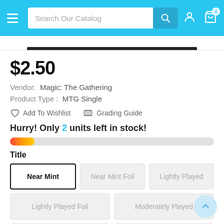Search Our Catalog
$2.50
Vendor: Magic: The Gathering
Product Type : MTG Single
Add To Wishlist
Grading Guide
Hurry! Only 2 units left in stock!
Title
Near Mint
Near Mint Foil
Lightly Played
Lightly Played Foil
Moderately Played
Moderately Played Foil
Heavily Played